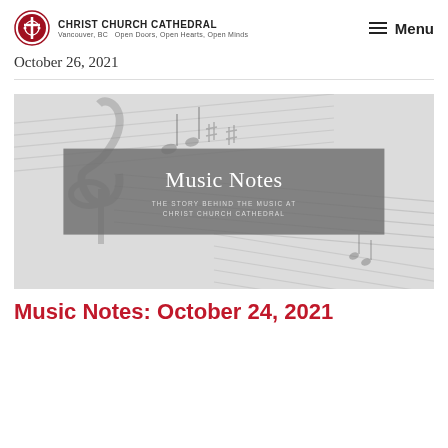Christ Church Cathedral
Vancouver, BC Open Doors, Open Hearts, Open Minds
Menu
October 26, 2021
[Figure (illustration): Banner image with sheet music in the background (blurred), a grey overlay box containing the text 'Music Notes' in large serif font, and below it 'THE STORY BEHIND THE MUSIC AT CHRIST CHURCH CATHEDRAL' in small caps.]
Music Notes: October 24, 2021